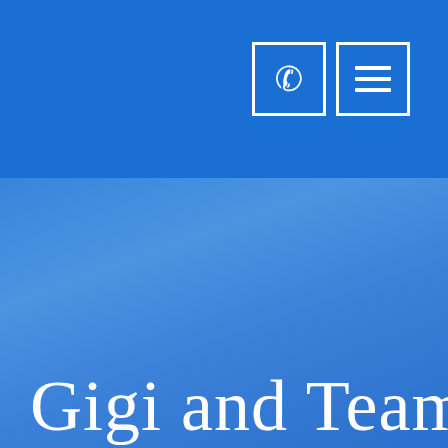[Figure (screenshot): Website header with a solid blue top bar containing a phone icon button and a hamburger menu icon button in the upper right. Below is a slightly lighter blue gradient section. At the bottom of the page, large white serif text reads 'Gigi and Team' partially visible.]
Gigi and Team